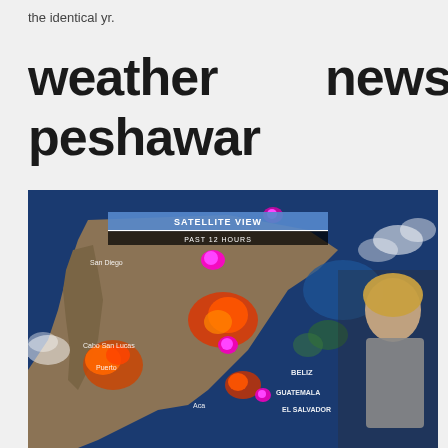the identical yr.
weather news in peshawar
[Figure (screenshot): TV weather broadcast screenshot showing a satellite view map of Mexico and Central America with storm activity highlighted in pink/magenta and orange/red colors. Labels visible: SATELLITE VIEW, PAST 12 HOURS, San Diego, Cabo San Lucas, Puerto [something], Acapulco, Beliz, Guatemala, El Salvador. A female weather presenter stands to the right.]